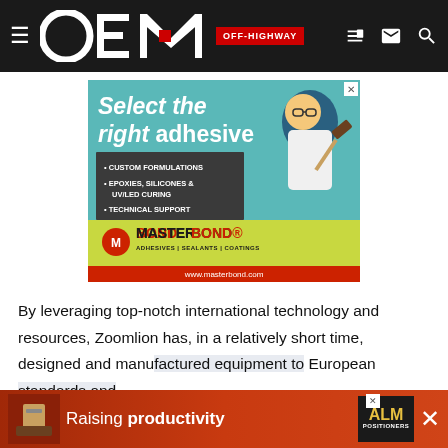OEM OFF-HIGHWAY
[Figure (illustration): MasterBond advertisement: 'Select the right adhesive' with bullet points: CUSTOM FORMULATIONS, EPOXIES, SILICONES & UV/LED CURING, TECHNICAL SUPPORT. MASTERBOND ADHESIVES | SEALANTS | COATINGS. www.masterbond.com]
By leveraging top-notch international technology and resources, Zoomlion has, in a relatively short time, designed and manu[factured equipment to] European [standards and] [s]and
[Figure (illustration): Bottom banner advertisement: 'Raising productivity' with ALM Positioners logo]